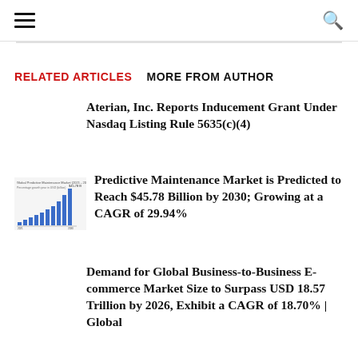≡  🔍
RELATED ARTICLES   MORE FROM AUTHOR
Aterian, Inc. Reports Inducement Grant Under Nasdaq Listing Rule 5635(c)(4)
[Figure (bar-chart): Small thumbnail bar chart for Predictive Maintenance Market article]
Predictive Maintenance Market is Predicted to Reach $45.78 Billion by 2030; Growing at a CAGR of 29.94%
Demand for Global Business-to-Business E-commerce Market Size to Surpass USD 18.57 Trillion by 2026, Exhibit a CAGR of 18.70% | Global